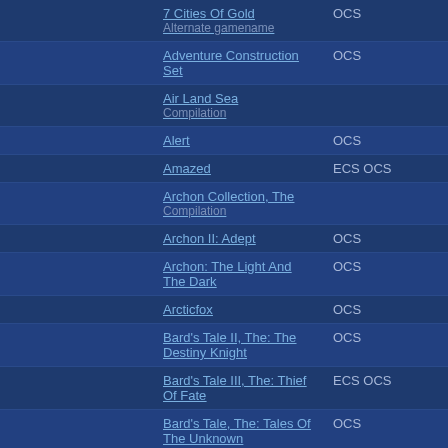|  | Game Name | Chipset |
| --- | --- | --- |
|  | 7 Cities Of Gold
Alternate gamename | OCS |
|  | Adventure Construction Set | OCS |
|  | Air Land Sea
Compilation |  |
|  | Alert | OCS |
|  | Amazed | ECS OCS |
|  | Archon Collection, The
Compilation |  |
|  | Archon II: Adept | OCS |
|  | Archon: The Light And The Dark | OCS |
|  | Arcticfox | OCS |
|  | Bard's Tale II, The: The Destiny Knight | OCS |
|  | Bard's Tale III, The: Thief Of Fate | ECS OCS |
|  | Bard's Tale, The: Tales Of The Unknown | OCS |
|  | Baron Baldric: A Grave Adventure | ECS OCS |
|  | Battle Chess | OCS |
|  | Battle Chess II: Chinese Chess | ECS OCS |